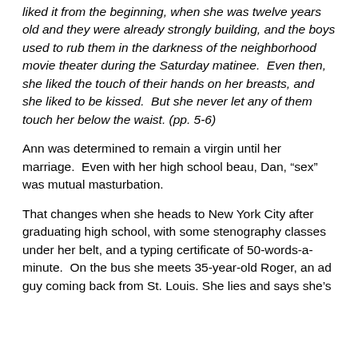liked it from the beginning, when she was twelve years old and they were already strongly building, and the boys used to rub them in the darkness of the neighborhood movie theater during the Saturday matinee.  Even then, she liked the touch of their hands on her breasts, and she liked to be kissed.  But she never let any of them touch her below the waist. (pp. 5-6)
Ann was determined to remain a virgin until her marriage.  Even with her high school beau, Dan, “sex” was mutual masturbation.
That changes when she heads to New York City after graduating high school, with some stenography classes under her belt, and a typing certificate of 50-words-a-minute.  On the bus she meets 35-year-old Roger, an ad guy coming back from St. Louis. She lies and says she’s